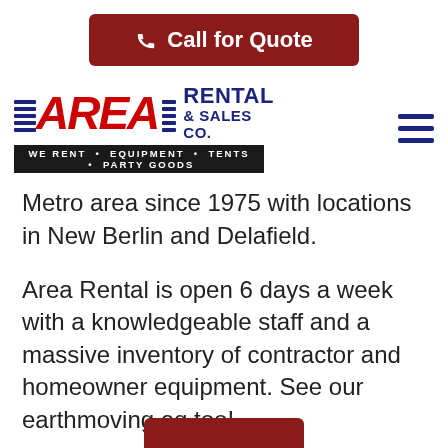[Figure (other): Call for Quote button — dark red rounded rectangle with phone icon and white text]
[Figure (logo): Area Rental & Sales Co. logo with tagline WE RENT • EQUIPMENT • TENTS • PARTY GOODS]
Metro area since 1975 with locations in New Berlin and Delafield.
Area Rental is open 6 days a week with a knowledgeable staff and a massive inventory of contractor and homeowner equipment. See our earthmoving eq too!